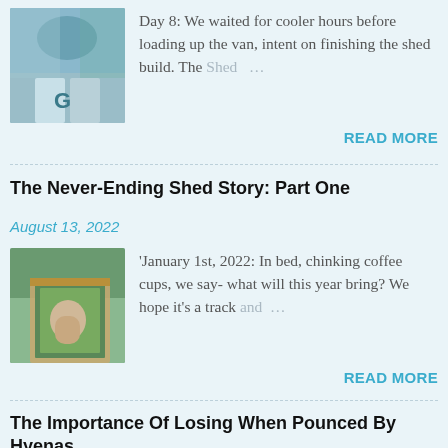[Figure (photo): Thumbnail photo of hands holding a mug with a 'G' logo outdoors]
Day 8: We waited for cooler hours before loading up the van, intent on finishing the shed build. The Shed …
READ MORE
The Never-Ending Shed Story: Part One
August 13, 2022
[Figure (photo): Thumbnail photo of a person sitting inside a wooden shed frame]
'January 1st, 2022:  In bed, chinking coffee cups, we say- what will this year bring? We hope it's a track and …
READ MORE
The Importance Of Losing When Pounced By Hyenas